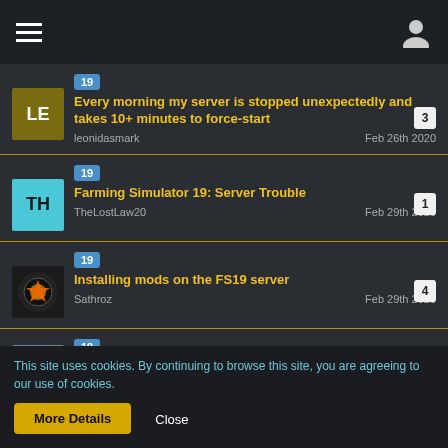Navigation bar with hamburger menu and user icon
Every morning my server is stopped unexpectedly and takes 10+ minutes to force-start | leonidasmark | Feb 26th 2020 | replies: 3 | tag: 19
Farming Simulator 19: Server Trouble | TheLostLaw20 | Feb 29th 2020 | replies: 1 | tag: 19
Installing mods on the FS19 server | Sathroz | Feb 29th 2020 | replies: 4 | tag: 19
i need help mods button not there | DZ | replies: 1 | tag: 19
This site uses cookies. By continuing to browse this site, you are agreeing to our use of cookies.
More Details   Close